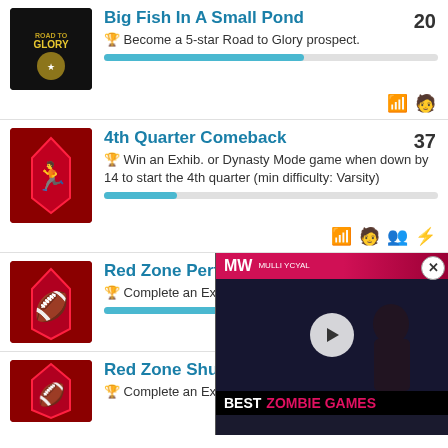Big Fish In A Small Pond — 20 — Become a 5-star Road to Glory prospect.
4th Quarter Comeback — 37 — Win an Exhib. or Dynasty Mode game when down by 14 to start the 4th quarter (min difficulty: Varsity)
Red Zone Perfectio... — Complete an Exhibit... with a Red Zone Efficie...
[Figure (screenshot): Video ad overlay: MullYoyal MW logo with Best Zombie Games text, dark background with a person screenshot]
Red Zone Shutout — 19 — Complete an Exhibition or Dynasty Mode game...